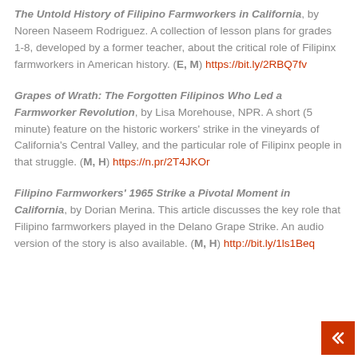The Untold History of Filipino Farmworkers in California, by Noreen Naseem Rodriguez. A collection of lesson plans for grades 1-8, developed by a former teacher, about the critical role of Filipinx farmworkers in American history. (E, M) https://bit.ly/2RBQ7fv
Grapes of Wrath: The Forgotten Filipinos Who Led a Farmworker Revolution, by Lisa Morehouse, NPR. A short (5 minute) feature on the historic workers' strike in the vineyards of California's Central Valley, and the particular role of Filipinx people in that struggle. (M, H) https://n.pr/2T4JKOr
Filipino Farmworkers' 1965 Strike a Pivotal Moment in California, by Dorian Merina. This article discusses the key role that Filipino farmworkers played in the Delano Grape Strike. An audio version of the story is also available. (M, H) http://bit.ly/1ls1Beq